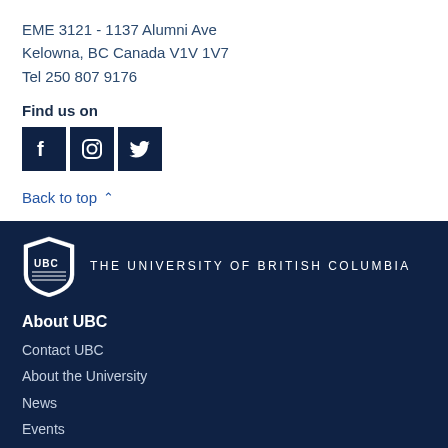EME 3121 - 1137 Alumni Ave
Kelowna, BC Canada V1V 1V7
Tel 250 807 9176
Find us on
[Figure (logo): Social media icons: Facebook, Instagram, Twitter on dark navy background]
Back to top
[Figure (logo): UBC shield logo with text THE UNIVERSITY OF BRITISH COLUMBIA]
About UBC
Contact UBC
About the University
News
Events
Careers
Make a Gift
Search UBC.ca